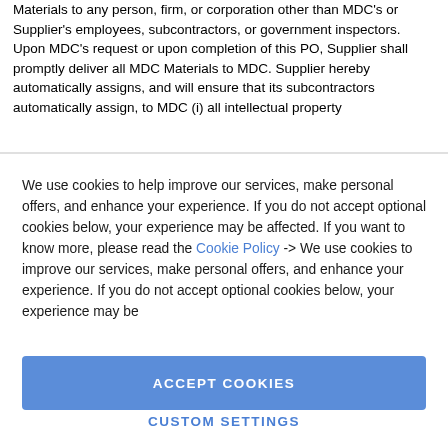Materials to any person, firm, or corporation other than MDC's or Supplier's employees, subcontractors, or government inspectors. Upon MDC's request or upon completion of this PO, Supplier shall promptly deliver all MDC Materials to MDC. Supplier hereby automatically assigns, and will ensure that its subcontractors automatically assign, to MDC (i) all intellectual property
We use cookies to help improve our services, make personal offers, and enhance your experience. If you do not accept optional cookies below, your experience may be affected. If you want to know more, please read the Cookie Policy -> We use cookies to improve our services, make personal offers, and enhance your experience. If you do not accept optional cookies below, your experience may be
ACCEPT COOKIES
CUSTOM SETTINGS